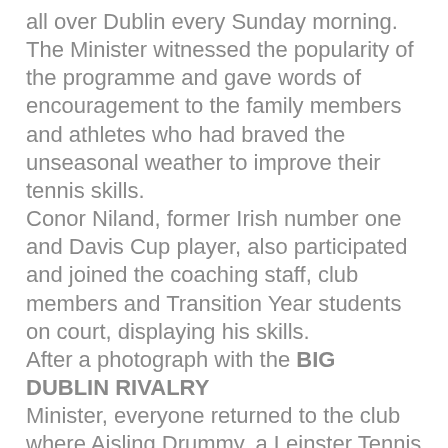all over Dublin every Sunday morning. The Minister witnessed the popularity of the programme and gave words of encouragement to the family members and athletes who had braved the unseasonal weather to improve their tennis skills. Conor Niland, former Irish number one and Davis Cup player, also participated and joined the coaching staff, club members and Transition Year students on court, displaying his skills. After a photograph with the BIG DUBLIN RIVALRY Minister, everyone returned to the club where Aisling Drummy, a Leinster Tennis Council Representative and David Slar...